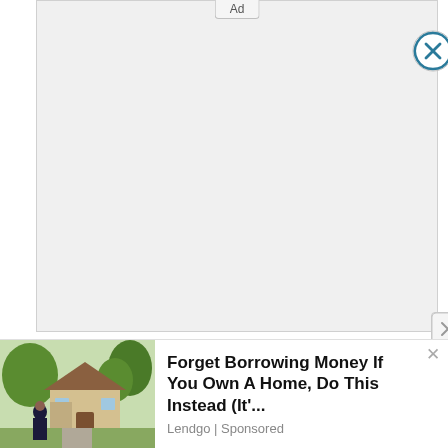[Figure (screenshot): Large gray empty ad placeholder box with 'Ad' label at top center and two close (X) buttons]
[Figure (screenshot): Bottom banner ad showing a woman standing in front of a house, with text 'Forget Borrowing Money If You Own A Home, Do This Instead (It'...' and source 'Lendgo | Sponsored']